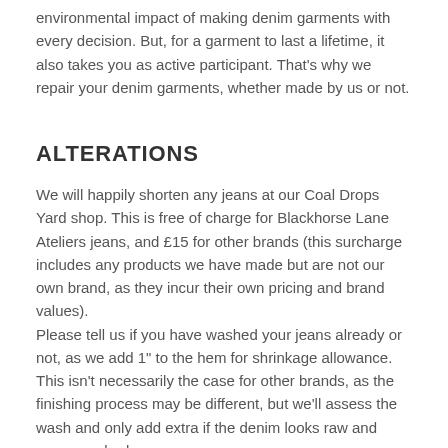environmental impact of making denim garments with every decision. But, for a garment to last a lifetime, it also takes you as active participant. That's why we repair your denim garments, whether made by us or not.
ALTERATIONS
We will happily shorten any jeans at our Coal Drops Yard shop. This is free of charge for Blackhorse Lane Ateliers jeans, and £15 for other brands (this surcharge includes any products we have made but are not our own brand, as they incur their own pricing and brand values).
Please tell us if you have washed your jeans already or not, as we add 1" to the hem for shrinkage allowance. This isn't necessarily the case for other brands, as the finishing process may be different, but we'll assess the wash and only add extra if the denim looks raw and never washed.
See the price list further below for alterations specifics.